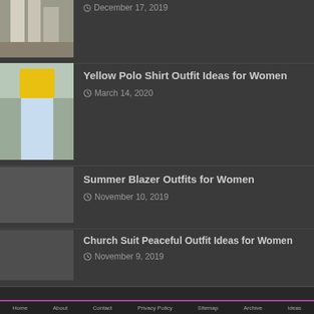[Figure (photo): Partial view of two people's legs in white/light clothing, cropped at top]
December 17, 2019
[Figure (photo): Woman wearing yellow polo shirt and light blue jeans]
Yellow Polo Shirt Outfit Ideas for Women
March 14, 2020
Summer Blazer Outfits for Women
November 10, 2019
Church Suit Peaceful Outfit Ideas for Women
November 9, 2019
Broad Shorts Sporty Beach Outfit Ideas for Women
December 25, 2019
Home  About  Contact  Privacy Policy  Sitemap  Archive  Ideas